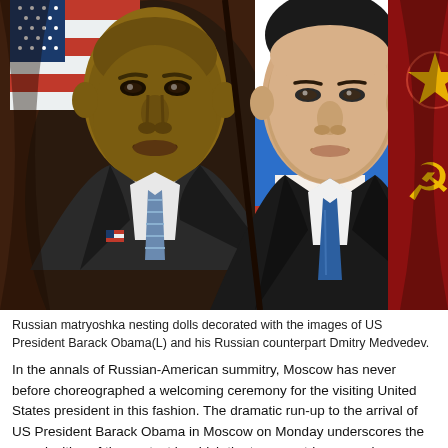[Figure (photo): Russian matryoshka nesting dolls painted with portraits of US President Barack Obama on the left (wearing a suit with American flag pin, in front of a US flag) and Russian President Dmitry Medvedev on the right (wearing a suit with blue tie, in front of a Russian flag). A partial third doll with Soviet hammer and sickle imagery is visible on the far right.]
Russian matryoshka nesting dolls decorated with the images of US President Barack Obama(L) and his Russian counterpart Dmitry Medvedev.
In the annals of Russian-American summitry, Moscow has never before choreographed a welcoming ceremony for the visiting United States president in this fashion. The dramatic run-up to the arrival of US President Barack Obama in Moscow on Monday underscores the complexities of the context in which the two countries are going through at the summit.
Russia has laid out its welcome carpet leading all the way from the rugged Caucasus, a theater of events that is interesting in the highest degree to